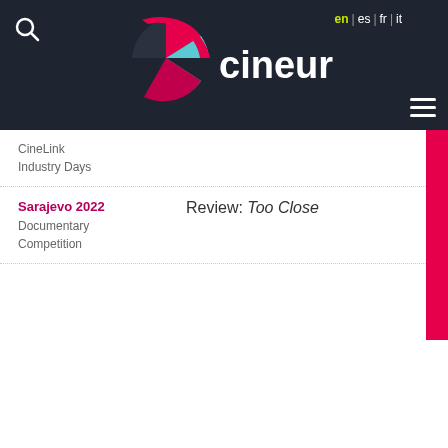[Figure (logo): Cineuropa logo — stylized C made of pink, teal and dark segments, with 'cineuropa' in white text]
en | es | fr | it
CineLink Industry Days
Sarajevo 2022 Documentary Competition  Review: Too Close